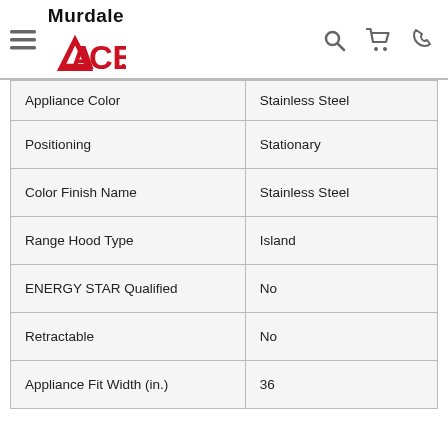Murdale ACE
| Property | Value |
| --- | --- |
| Appliance Color | Stainless Steel |
| Positioning | Stationary |
| Color Finish Name | Stainless Steel |
| Range Hood Type | Island |
| ENERGY STAR Qualified | No |
| Retractable | No |
| Appliance Fit Width (in.) | 36 |